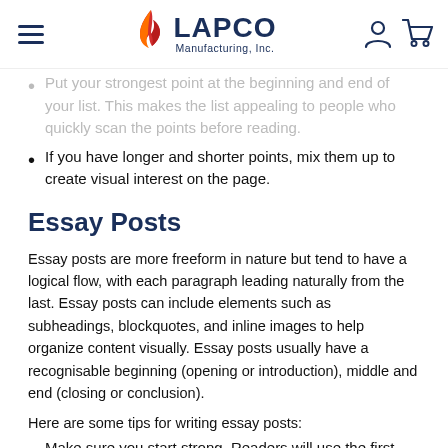LAPCO Manufacturing, Inc.
Put your strongest point at the beginning and end of your list. This makes the list appealing to people who quickly scan the points before reading.
If you have longer and shorter points, mix them up to create visual interest on the page.
Essay Posts
Essay posts are more freeform in nature but tend to have a logical flow, with each paragraph leading naturally from the last. Essay posts can include elements such as subheadings, blockquotes, and inline images to help organize content visually. Essay posts usually have a recognisable beginning (opening or introduction), middle and end (closing or conclusion).
Here are some tips for writing essay posts:
Make sure you start strong. Readers will use the first few sentences to decide whether they will read the whole article.
Keep your paragraphs short. Popular posts average three sentences per paragraph.
End with a "call to action." In the conclusion to your post,